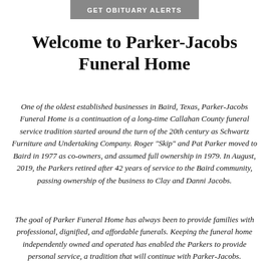GET OBITUARY ALERTS
Welcome to Parker-Jacobs Funeral Home
One of the oldest established businesses in Baird, Texas, Parker-Jacobs Funeral Home is a continuation of a long-time Callahan County funeral service tradition started around the turn of the 20th century as Schwartz Furniture and Undertaking Company. Roger "Skip" and Pat Parker moved to Baird in 1977 as co-owners, and assumed full ownership in 1979. In August, 2019, the Parkers retired after 42 years of service to the Baird community, passing ownership of the business to Clay and Danni Jacobs.
The goal of Parker Funeral Home has always been to provide families with professional, dignified, and affordable funerals. Keeping the funeral home independently owned and operated has enabled the Parkers to provide personal service, a tradition that will continue with Parker-Jacobs.